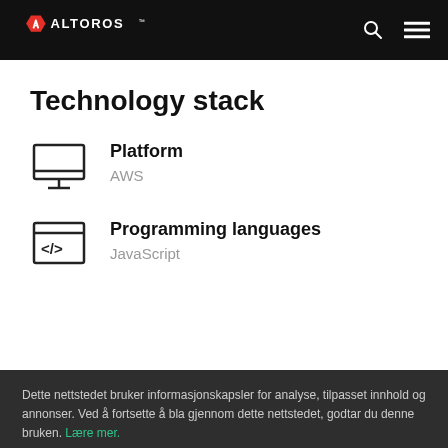Altoros
Technology stack
Platform
AWS
Programming languages
JavaScript
Dette nettstedet bruker informasjonskapsler for analyse, tilpasset innhold og annonser. Ved å fortsette å bla gjennom dette nettstedet, godtar du denne bruken. Lære mer.
Jeg godtar
Cookie-innstillinger